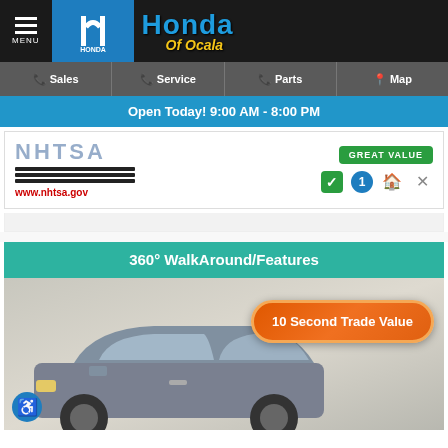Honda of Ocala — MENU | Sales | Service | Parts | Map
Open Today! 9:00 AM - 8:00 PM
[Figure (screenshot): NHTSA logo area with www.nhtsa.gov URL, GREAT VALUE badge, and icons row (checkmark, info, house, X)]
360° WalkAround/Features
[Figure (photo): Gray SUV (Buick Encore or similar) in dealership showroom with orange '10 Second Trade Value' button overlay. Accessibility icon in lower left.]